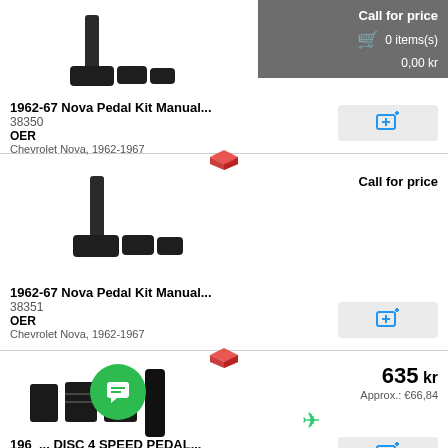[Figure (photo): Pedal kit parts (manual) black rubber pedals and bracket, top of image]
Call for price
0 items(s)
0,00 kr
1962-67 Nova Pedal Kit Manual...
38350
OER
Chevrolet Nova, 1962-1967
[Figure (photo): Pedal kit parts (manual) black rubber pedals and bracket, second product]
Call for price
1962-67 Nova Pedal Kit Manual...
38351
OER
Chevrolet Nova, 1962-1967
[Figure (photo): Disc 4 speed pedal kit parts - black pedals and bracket, third product]
635 kr
Approx.: €66,84
196... DISC 4 SPEED PEDAL...
R50...
OER
Chevrolet Camaro, 1967-1968, Pontiac F...